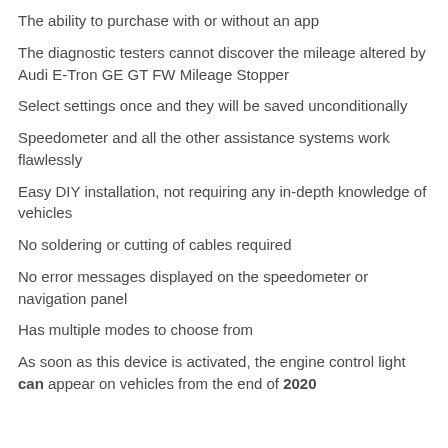The ability to purchase with or without an app
The diagnostic testers cannot discover the mileage altered by Audi E-Tron GE GT FW Mileage Stopper
Select settings once and they will be saved unconditionally
Speedometer and all the other assistance systems work flawlessly
Easy DIY installation, not requiring any in-depth knowledge of vehicles
No soldering or cutting of cables required
No error messages displayed on the speedometer or navigation panel
Has multiple modes to choose from
As soon as this device is activated, the engine control light can appear on vehicles from the end of 2020